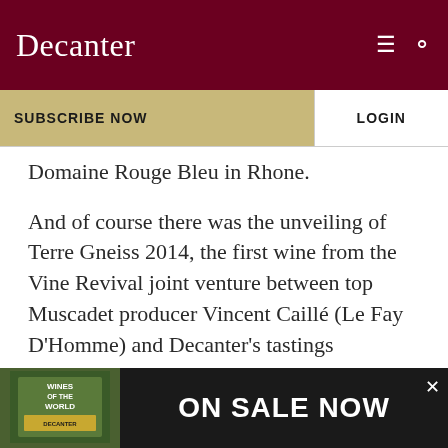Decanter
SUBSCRIBE NOW
LOGIN
Domaine Rouge Bleu in Rhone.
And of course there was the unveiling of Terre Gneiss 2014, the first wine from the Vine Revival joint venture between top Muscadet producer Vincent Caillé (Le Fay D'Homme) and Decanter's tastings coordinator Christelle Guibert.
See also:
Orange wines: it's time to get in touch
[Figure (other): Advertisement banner: Wines of the World book cover with text ON SALE NOW]